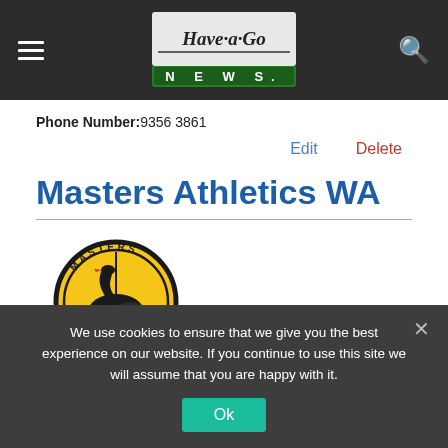Have-a-Go News — navigation bar with hamburger menu, logo, and search icon
Phone Number:9356 3861
Edit   Delete
Masters Athletics WA
[Figure (logo): Masters Athletics WA circular logo: yellow circle with black swan and 'MASTERS' text arced at top]
We use cookies to ensure that we give you the best experience on our website. If you continue to use this site we will assume that you are happy with it.